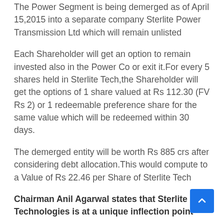The Power Segment is being demerged as of April 15,2015 into a separate company Sterlite Power Transmission Ltd which will remain unlisted
Each Shareholder will get an option to remain invested also in the Power Co or exit it.For every 5 shares held in Sterlite Tech,the Shareholder will get the options of 1 share valued at Rs 112.30 (FV Rs 2) or 1 redeemable preference share for the same value which will be redeemed within 30 days.
The demerged entity will be worth Rs 885 crs after considering debt allocation.This would compute to a Value of Rs 22.46 per Share of Sterlite Tech
Chairman Anil Agarwal states that Sterlite Technologies is at a unique inflection point